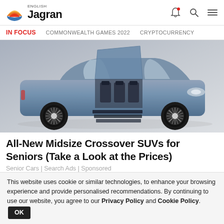English Jagran
IN FOCUS   COMMONWEALTH GAMES 2022   CRYPTOCURRENCY
[Figure (photo): A luxury midsize crossover SUV (blue/silver Lincoln Navigator concept) with suicide/butterfly doors open, showing interior seats and deployable steps, photographed on a light background.]
All-New Midsize Crossover SUVs for Seniors (Take a Look at the Prices)
Senior Cars | Search Ads | Sponsored
This website uses cookie or similar technologies, to enhance your browsing experience and provide personalised recommendations. By continuing to use our website, you agree to our Privacy Policy and Cookie Policy. OK